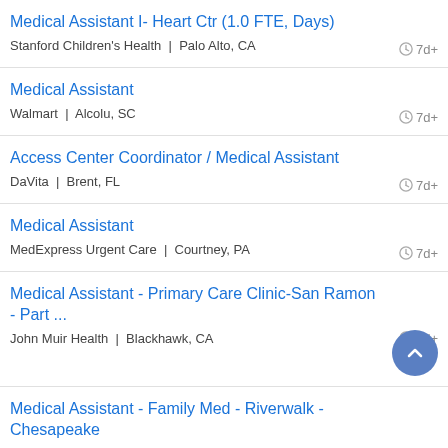Medical Assistant I- Heart Ctr (1.0 FTE, Days)
Stanford Children's Health | Palo Alto, CA
7d+
Medical Assistant
Walmart | Alcolu, SC
7d+
Access Center Coordinator / Medical Assistant
DaVita | Brent, FL
7d+
Medical Assistant
MedExpress Urgent Care | Courtney, PA
7d+
Medical Assistant - Primary Care Clinic-San Ramon - Part ...
John Muir Health | Blackhawk, CA
7d+
Medical Assistant - Family Med - Riverwalk - Chesapeake
Sentara Healthcare | Knotts Island, NC
7d+